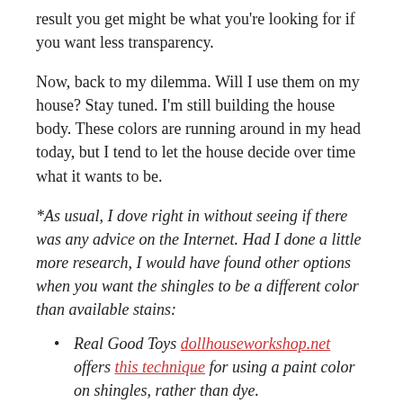result you get might be what you're looking for if you want less transparency.
Now, back to my dilemma. Will I use them on my house? Stay tuned. I'm still building the house body. These colors are running around in my head today, but I tend to let the house decide over time what it wants to be.
*As usual, I dove right in without seeing if there was any advice on the Internet. Had I done a little more research, I would have found other options when you want the shingles to be a different color than available stains:
Real Good Toys dollhouseworkshop.net offers this technique for using a paint color on shingles, rather than dye.
Here is a discussion of choosing between stain and paint for roof shingles, as well as whether to place